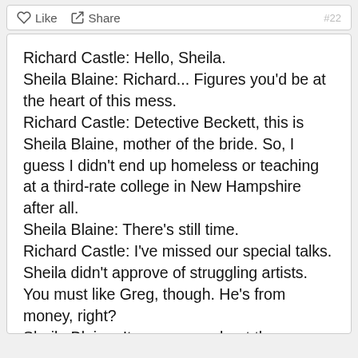Like  Share
Richard Castle: Hello, Sheila.
Sheila Blaine: Richard... Figures you'd be at the heart of this mess.
Richard Castle: Detective Beckett, this is Sheila Blaine, mother of the bride. So, I guess I didn't end up homeless or teaching at a third-rate college in New Hampshire after all.
Sheila Blaine: There's still time.
Richard Castle: I've missed our special talks. Sheila didn't approve of struggling artists. You must like Greg, though. He's from money, right?
Sheila Blaine: It was never about the money, Richard. It was about character. And you